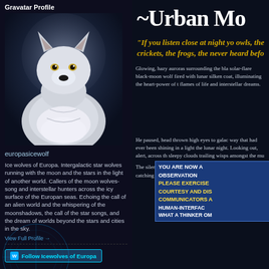Gravatar Profile
[Figure (photo): White arctic wolf photo against dark blue background]
europasicewolf
Ice wolves of Europa. Intergalactic star wolves running with the moon and the stars in the light of another world. Callers of the moon wolves-song and interstellar hunters across the icy surface of the Europan seas. Echoing the call of an alien world and the whispering of the moonshadows, the call of the star songs, and the dream of worlds beyond the stars and cities in the sky.
View Full Profile →
Follow Icewolves of Europa
~Urban Mo
“If you listen close at night yo owls, the crickets, the frogs, the never heard befo
Glowing, hazy auroras surrounding the bla solar-flare black-moon wolf fired with lunar silken coat, illuminating the heart-power of t flames of life and interstellar dreams.
YOU ARE NOW A OBSERVATION
PLEASE EXERCISE
COURTESY AND DIS
COMMUNICATORS A
HUMAN-INTERFAC
WHAT A THINKER OM
He paused, head thrown high eyes to galac way that had ever been shining in a light the lunar night. Looking out, alert, across th sleepy clouds trailing wisps amongst the mu
The silence of eternity captured in an interp visions, catching the rippling, silken moon b